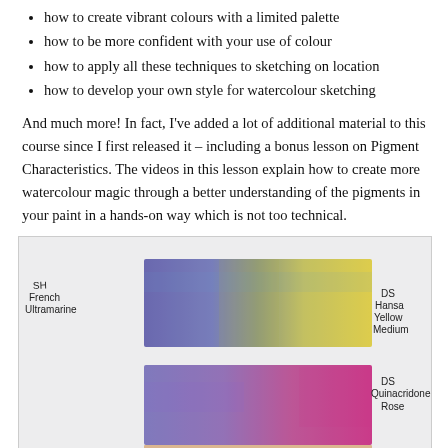how to create vibrant colours with a limited palette
how to be more confident with your use of colour
how to apply all these techniques to sketching on location
how to develop your own style for watercolour sketching
And much more! In fact, I've added a lot of additional material to this course since I first released it – including a bonus lesson on Pigment Characteristics. The videos in this lesson explain how to create more watercolour magic through a better understanding of the pigments in your paint in a hands-on way which is not too technical.
[Figure (photo): Two watercolour paint swatches on white paper. Top swatch: a gradient blend from blue (SH French Ultramarine) on the left to yellow (DS Hansa Yellow Medium) on the right. Bottom swatch: a blend from purple/blue on the left to magenta/pink (DS Quinacridone Rose) on the right. Handwritten labels identify each paint.]